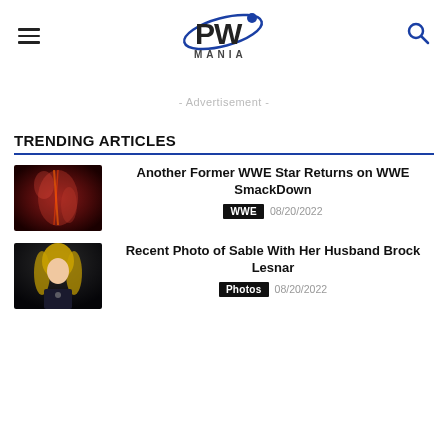PW MANIA
- Advertisement -
TRENDING ARTICLES
[Figure (photo): Thumbnail image for WWE SmackDown article - dark red dramatic wrestling scene]
Another Former WWE Star Returns on WWE SmackDown
WWE  08/20/2022
[Figure (photo): Thumbnail image for Sable article - blonde woman in black outfit against dark background]
Recent Photo of Sable With Her Husband Brock Lesnar
Photos  08/20/2022